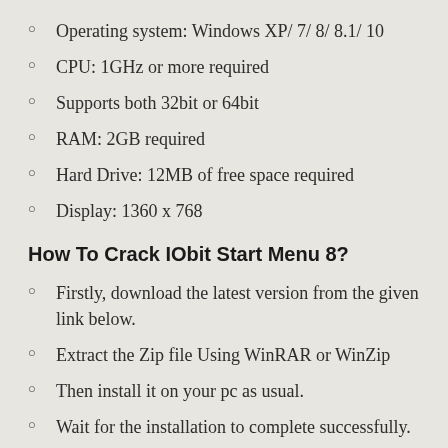Operating system: Windows XP/ 7/ 8/ 8.1/ 10
CPU: 1GHz or more required
Supports both 32bit or 64bit
RAM: 2GB required
Hard Drive: 12MB of free space required
Display: 1360 x 768
How To Crack IObit Start Menu 8?
Firstly, download the latest version from the given link below.
Extract the Zip file Using WinRAR or WinZip
Then install it on your pc as usual.
Wait for the installation to complete successfully.
Copy the crack file given below and paste it into C/dde...